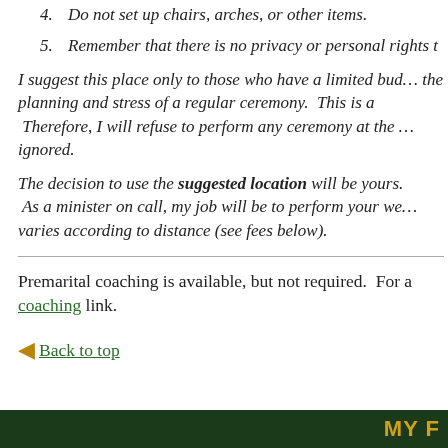4. Do not set up chairs, arches, or other items.
5. Remember that there is no privacy or personal rights t…
I suggest this place only to those who have a limited bud… the planning and stress of a regular ceremony. This is a… Therefore, I will refuse to perform any ceremony at the … ignored.
The decision to use the suggested location will be yours. As a minister on call, my job will be to perform your we… varies according to distance (see fees below).
Premarital coaching is available, but not required. For a… coaching link.
◄ Back to top
MY F…